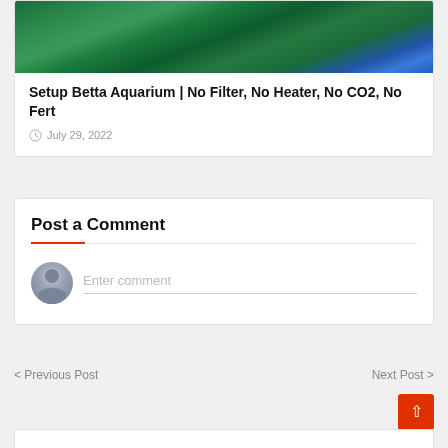[Figure (photo): Aquarium photo showing green aquatic plants and a blue betta fish]
Setup Betta Aquarium | No Filter, No Heater, No CO2, No Fert
July 29, 2022
Post a Comment
Enter comment
< Previous Post
Next Post >